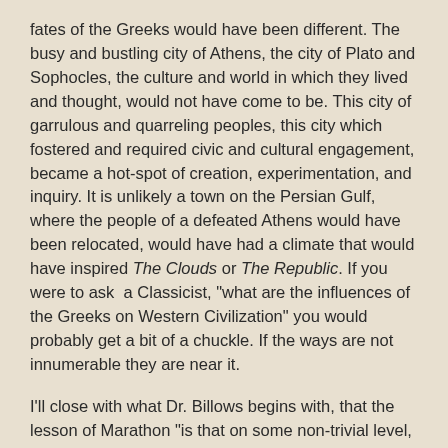fates of the Greeks would have been different. The busy and bustling city of Athens, the city of Plato and Sophocles, the culture and world in which they lived and thought, would not have come to be. This city of garrulous and quarreling peoples, this city which fostered and required civic and cultural engagement, became a hot-spot of creation, experimentation, and inquiry. It is unlikely a town on the Persian Gulf, where the people of a defeated Athens would have been relocated, would have had a climate that would have inspired The Clouds or The Republic. If you were to ask  a Classicist, "what are the influences of the Greeks on Western Civilization" you would probably get a bit of a chuckle. If the ways are not innumerable they are near it.
I'll close with what Dr. Billows begins with, that the lesson of Marathon "is that on some non-trivial level, humans can take charge of and affect their destinies: if ten thousand men had not made the stand they did on the plain of Marathon, history as we know it would not have come about."
–